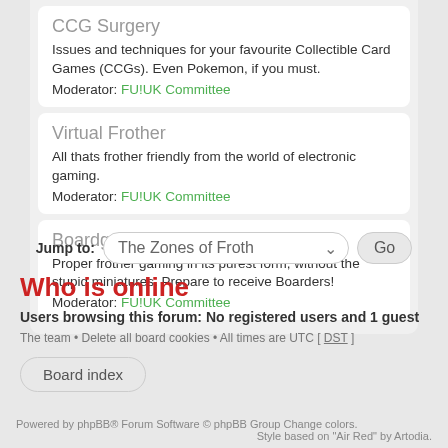CCG Surgery
Issues and techniques for your favourite Collectible Card Games (CCGs). Even Pokemon, if you must.
Moderator: FU!UK Committee
Virtual Frother
All thats frother friendly from the world of electronic gaming.
Moderator: FU!UK Committee
Boardgamers' Galley
Proper frother gaming in its purest form, without the stupid miniatures. Prepare to receive Boarders!
Moderator: FU!UK Committee
Jump to: The Zones of Froth  Go
Who is online
Users browsing this forum: No registered users and 1 guest
The team • Delete all board cookies • All times are UTC [ DST ]
Board index
Powered by phpBB® Forum Software © phpBB Group  Change colors.
Style based on "Air Red" by Artodia.